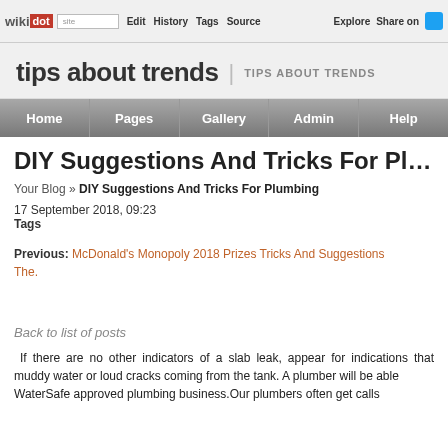wikidot | site | Edit | History | Tags | Source | Explore | Share on
tips about trends | TIPS ABOUT TRENDS
Home | Pages | Gallery | Admin | Help
DIY Suggestions And Tricks For Plumbing
Your Blog » DIY Suggestions And Tricks For Plumbing
17 September 2018, 09:23
Tags
Previous: McDonald's Monopoly 2018 Prizes Tricks And Suggestions The.
Back to list of posts
If there are no other indicators of a slab leak, appear for indications that muddy water or loud cracks coming from the tank. A plumber will be able WaterSafe approved plumbing business.Our plumbers often get calls